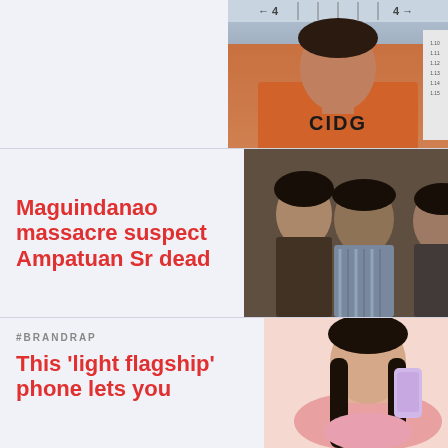[Figure (photo): Partial view of a person in an orange CIDG shirt against a mugshot background with ruler markings showing numbers 4]
Maguindanao massacre suspect Ampatuan Sr dead
[Figure (photo): Three people standing together, a woman on the left, an older man in the center, and another woman on the right]
#BRANDRAP
This 'light flagship' phone lets you
[Figure (photo): Woman with long dark hair holding a pink/lavender smartphone, wearing a pink top]